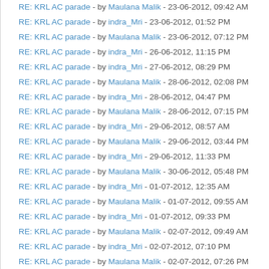RE: KRL AC parade - by Maulana Malik - 23-06-2012, 09:42 AM
RE: KRL AC parade - by indra_Mri - 23-06-2012, 01:52 PM
RE: KRL AC parade - by Maulana Malik - 23-06-2012, 07:12 PM
RE: KRL AC parade - by indra_Mri - 26-06-2012, 11:15 PM
RE: KRL AC parade - by indra_Mri - 27-06-2012, 08:29 PM
RE: KRL AC parade - by Maulana Malik - 28-06-2012, 02:08 PM
RE: KRL AC parade - by indra_Mri - 28-06-2012, 04:47 PM
RE: KRL AC parade - by Maulana Malik - 28-06-2012, 07:15 PM
RE: KRL AC parade - by indra_Mri - 29-06-2012, 08:57 AM
RE: KRL AC parade - by Maulana Malik - 29-06-2012, 03:44 PM
RE: KRL AC parade - by indra_Mri - 29-06-2012, 11:33 PM
RE: KRL AC parade - by Maulana Malik - 30-06-2012, 05:48 PM
RE: KRL AC parade - by indra_Mri - 01-07-2012, 12:35 AM
RE: KRL AC parade - by Maulana Malik - 01-07-2012, 09:55 AM
RE: KRL AC parade - by indra_Mri - 01-07-2012, 09:33 PM
RE: KRL AC parade - by Maulana Malik - 02-07-2012, 09:49 AM
RE: KRL AC parade - by indra_Mri - 02-07-2012, 07:10 PM
RE: KRL AC parade - by Maulana Malik - 02-07-2012, 07:26 PM
RE: KRL AC parade - by megaloblast - 05-07-2012, 06:10 AM
RE: KRL AC parade - by Maulana Malik - 05-07-2012, 10:05 AM
RE: KRL AC parade - by Jefta Bwan - 10-07-2012, 03:11 AM
RE: KRL AC parade - by ajuy - 10-07-2012, 05:58 AM
RE: KRL AC parade - by Maulana Malik - 10-07-2012, 10:11 AM
RE: KRL AC parade - by ajuy - 13-07-2012, 05:56 AM
RE: KRL AC parade - by Maulana Malik - 13-07-2012, 10:04 AM